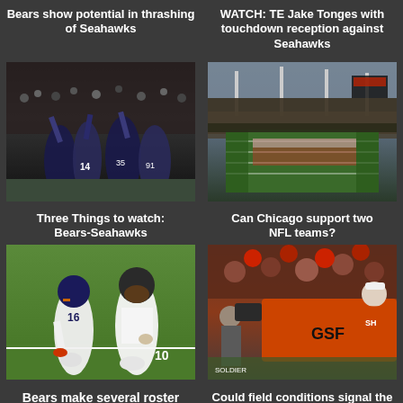Bears show potential in thrashing of Seahawks
[Figure (photo): Bears players celebrating on field with crowd in background]
WATCH: TE Jake Tonges with touchdown reception against Seahawks
[Figure (photo): Aerial view of packed NFL stadium with field visible]
Three Things to watch: Bears-Seahawks
Can Chicago support two NFL teams?
[Figure (photo): Two Bears players kneeling on football field during practice]
[Figure (photo): Crowd scene at Soldier Field with Bears signage visible]
Bears make several roster moves
Could field conditions signal the end of Bears at Soldier Field?